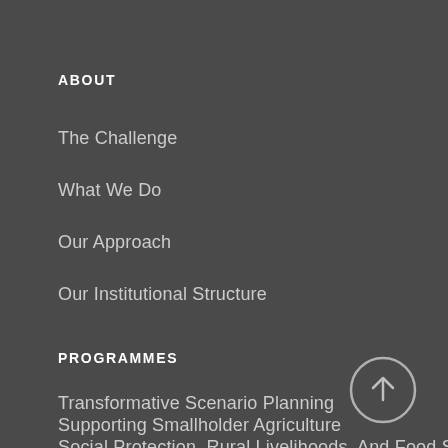ABOUT
The Challenge
What We Do
Our Approach
Our Institutional Structure
PROGRAMMES
Transformative Scenario Planning
Supporting Smallholder Agriculture
Social Protection, Rural Livelihoods, And Food Security